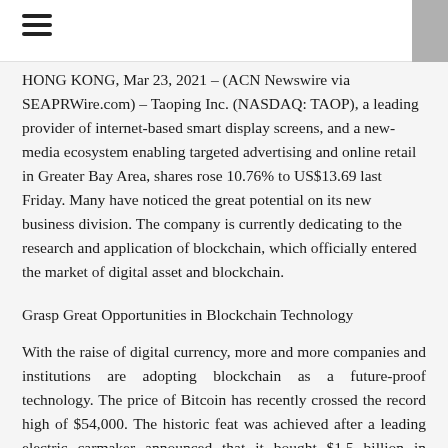HONG KONG, Mar 23, 2021 – (ACN Newswire via SEAPRWire.com) – Taoping Inc. (NASDAQ: TAOP), a leading provider of internet-based smart display screens, and a new-media ecosystem enabling targeted advertising and online retail in Greater Bay Area, shares rose 10.76% to US$13.69 last Friday. Many have noticed the great potential on its new business division. The company is currently dedicating to the research and application of blockchain, which officially entered the market of digital asset and blockchain.
Grasp Great Opportunities in Blockchain Technology
With the raise of digital currency, more and more companies and institutions are adopting blockchain as a future-proof technology. The price of Bitcoin has recently crossed the record high of $54,000. The historic feat was achieved after a leading electric carmaker announced that it bought $1.5 billion in Bitcoin and